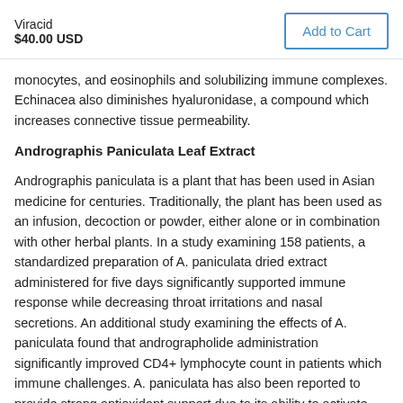Viracid
$40.00 USD
monocytes, and eosinophils and solubilizing immune complexes. Echinacea also diminishes hyaluronidase, a compound which increases connective tissue permeability.
Andrographis Paniculata Leaf Extract
Andrographis paniculata is a plant that has been used in Asian medicine for centuries. Traditionally, the plant has been used as an infusion, decoction or powder, either alone or in combination with other herbal plants. In a study examining 158 patients, a standardized preparation of A. paniculata dried extract administered for five days significantly supported immune response while decreasing throat irritations and nasal secretions. An additional study examining the effects of A. paniculata found that andrographolide administration significantly improved CD4+ lymphocyte count in patients which immune challenges. A. paniculata has also been reported to provide strong antioxidant support due to its ability to activate highly protective antioxidant